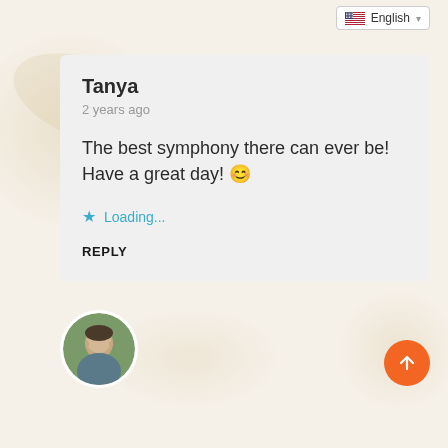[Figure (screenshot): Language selector dropdown showing US flag and 'English' text with dropdown arrow]
Tanya
2 years ago
The best symphony there can ever be! Have a great day! 😊
★ Loading...
REPLY
[Figure (photo): Circular avatar photo of a person outdoors]
[Figure (other): Orange circular scroll-to-top button with upward arrow]